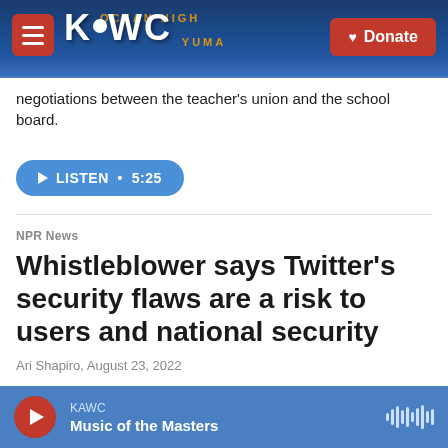[Figure (screenshot): KAWC radio station website header with logo, hamburger menu, donate button, and background photo of a stadium/arena sign]
negotiations between the teacher's union and the school board.
LISTEN • 5:25
NPR News
Whistleblower says Twitter's security flaws are a risk to users and national security
Ari Shapiro, August 23, 2022
NPR's Ari Shapiro speaks with Washington Post's Joseph Menn, one of the reporters to break the story...
KAWC
Music of the Masters